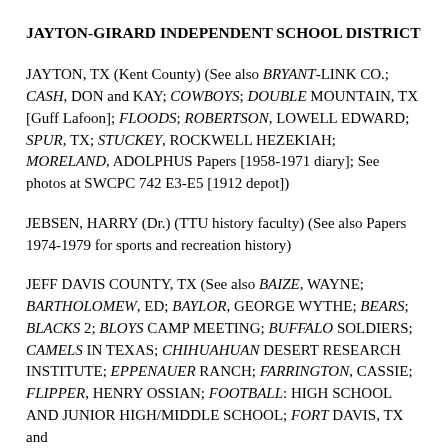JAYTON-GIRARD INDEPENDENT SCHOOL DISTRICT
JAYTON, TX (Kent County) (See also BRYANT-LINK CO.; CASH, DON and KAY; COWBOYS; DOUBLE MOUNTAIN, TX [Guff Lafoon]; FLOODS; ROBERTSON, LOWELL EDWARD; SPUR, TX; STUCKEY, ROCKWELL HEZEKIAH; MORELAND, ADOLPHUS Papers [1958-1971 diary]; See photos at SWCPC 742 E3-E5 [1912 depot])
JEBSEN, HARRY (Dr.) (TTU history faculty) (See also Papers 1974-1979 for sports and recreation history)
JEFF DAVIS COUNTY, TX (See also BAIZE, WAYNE; BARTHOLOMEW, ED; BAYLOR, GEORGE WYTHE; BEARS; BLACKS 2; BLOYS CAMP MEETING; BUFFALO SOLDIERS; CAMELS IN TEXAS; CHIHUAHUAN DESERT RESEARCH INSTITUTE; EPPENAUER RANCH; FARRINGTON, CASSIE; FLIPPER, HENRY OSSIAN; FOOTBALL: HIGH SCHOOL AND JUNIOR HIGH/MIDDLE SCHOOL; FORT DAVIS, TX and